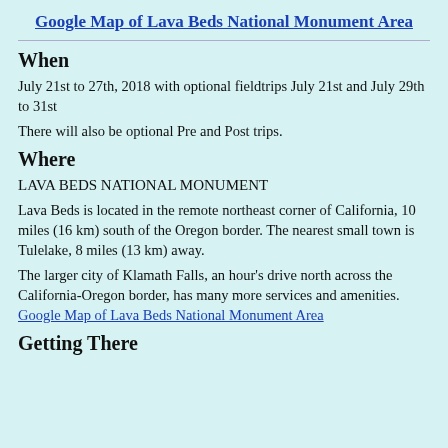Google Map of Lava Beds National Monument Area
When
July 21st to 27th, 2018 with optional fieldtrips July 21st and July 29th to 31st
There will also be optional Pre and Post trips.
Where
LAVA BEDS NATIONAL MONUMENT
Lava Beds is located in the remote northeast corner of California, 10 miles (16 km) south of the Oregon border. The nearest small town is Tulelake, 8 miles (13 km) away.
The larger city of Klamath Falls, an hour's drive north across the California-Oregon border, has many more services and amenities. Google Map of Lava Beds National Monument Area
Getting There